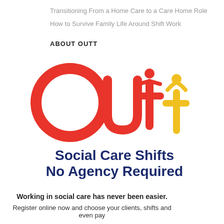Transitioning From a Home Care to a Care Home Role
How to Survive Family Life Around Shift Work
ABOUT OUTT
[Figure (logo): Outt logo — large red letter O, stylized red 'u', red and yellow 't' letters with human figure icons on top in matching colors]
Social Care Shifts
No Agency Required
Working in social care has never been easier.
Register online now and choose your clients, shifts and even pay